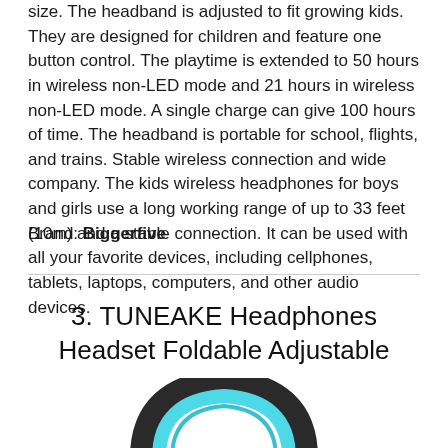size. The headband is adjusted to fit growing kids. They are designed for children and feature one button control. The playtime is extended to 50 hours in wireless non-LED mode and 21 hours in wireless non-LED mode. A single charge can give 100 hours of time. The headband is portable for school, flights, and trains. Stable wireless connection and wide company. The kids wireless headphones for boys and girls use a long working range of up to 33 feet (10m) and a stable connection. It can be used with all your favorite devices, including cellphones, tablets, laptops, computers, and other audio devices.
Brand: Biggerfive
3. TUNEAKE Headphones Headset Foldable Adjustable
[Figure (photo): Photo of headphones/headset, showing the top arc of a headband with teal/cyan cushioning visible against a dark outer frame, cropped at bottom of page]